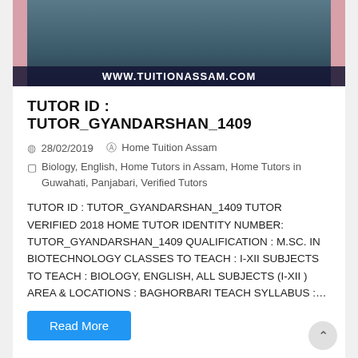[Figure (photo): Tutor profile photo with dark teal background and pink side panels, showing text overlay 'WWW.TUITIONASSAM.COM' at the bottom]
TUTOR ID : TUTOR_GYANDARSHAN_1409
28/02/2019   Home Tuition Assam
Biology, English, Home Tutors in Assam, Home Tutors in Guwahati, Panjabari, Verified Tutors
TUTOR ID : TUTOR_GYANDARSHAN_1409 TUTOR VERIFIED 2018 HOME TUTOR IDENTITY NUMBER: TUTOR_GYANDARSHAN_1409 QUALIFICATION : M.SC. IN BIOTECHNOLOGY CLASSES TO TEACH : I-XII SUBJECTS TO TEACH : BIOLOGY, ENGLISH, ALL SUBJECTS (I-XII ) AREA & LOCATIONS : BAGHORBARI TEACH SYLLABUS :…
Read More